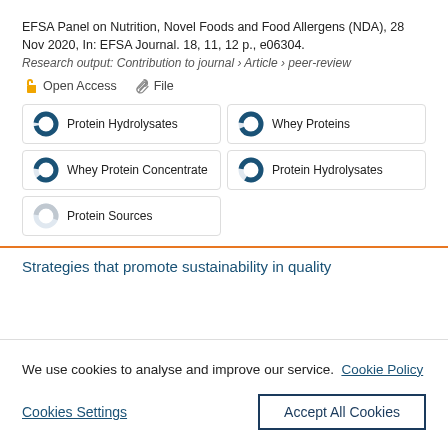EFSA Panel on Nutrition, Novel Foods and Food Allergens (NDA), 28 Nov 2020, In: EFSA Journal. 18, 11, 12 p., e06304.
Research output: Contribution to journal › Article › peer-review
Open Access  File
Protein Hydrolysates
Whey Proteins
Whey Protein Concentrate
Protein Hydrolysates
Protein Sources
Strategies that promote sustainability in quality
We use cookies to analyse and improve our service.  Cookie Policy
Cookies Settings
Accept All Cookies